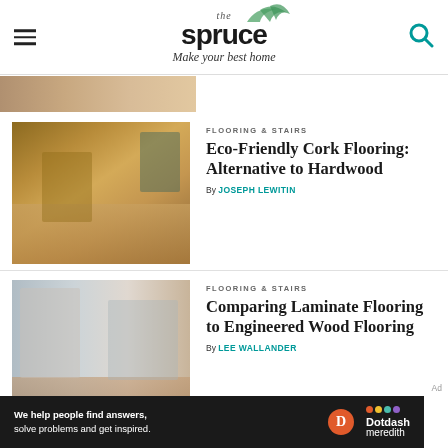the spruce — Make your best home
[Figure (screenshot): Partial top image strip showing flooring]
FLOORING & STAIRS
Eco-Friendly Cork Flooring: Alternative to Hardwood
By JOSEPH LEWITIN
[Figure (photo): Room interior with cork flooring, bench and basket]
FLOORING & STAIRS
Comparing Laminate Flooring to Engineered Wood Flooring
By LEE WALLANDER
[Figure (photo): Room interior with laminate/wood flooring, sofa and plants]
[Figure (infographic): Dotdash Meredith ad banner: We help people find answers, solve problems and get inspired.]